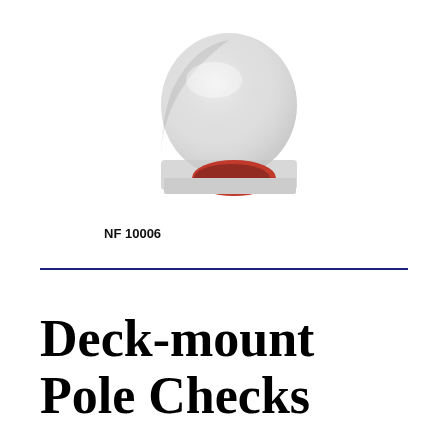[Figure (photo): White deck-mount pole chock product photo, showing a white half-dome shaped chock with red interior visible, labeled NF 10006]
NF 10006
Deck-mount Pole Checks